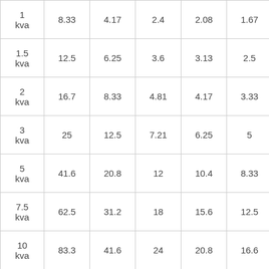|  |  |  |  |  |  |
| --- | --- | --- | --- | --- | --- |
| 1 kva | 8.33 | 4.17 | 2.4 | 2.08 | 1.67 |
| 1.5 kva | 12.5 | 6.25 | 3.6 | 3.13 | 2.5 |
| 2 kva | 16.7 | 8.33 | 4.81 | 4.17 | 3.33 |
| 3 kva | 25 | 12.5 | 7.21 | 6.25 | 5 |
| 5 kva | 41.6 | 20.8 | 12 | 10.4 | 8.33 |
| 7.5 kva | 62.5 | 31.2 | 18 | 15.6 | 12.5 |
| 10 kva | 83.3 | 41.6 | 24 | 20.8 | 16.6 |